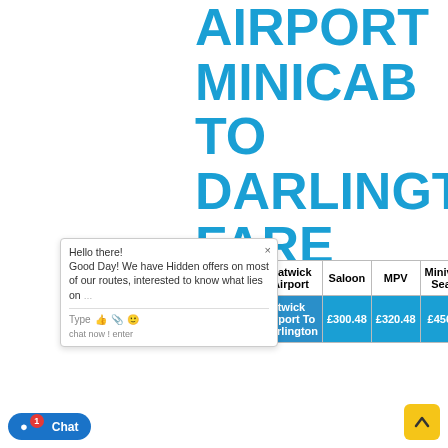AIRPORT MINICAB TO DARLINGTON FARE GUIDE
| Gatwick Airport | Saloon | MPV | Minivan(8 Seater) |
| --- | --- | --- | --- |
| Gatwick Airport To Darlington | £300.48 | £320.48 | £456.7… |